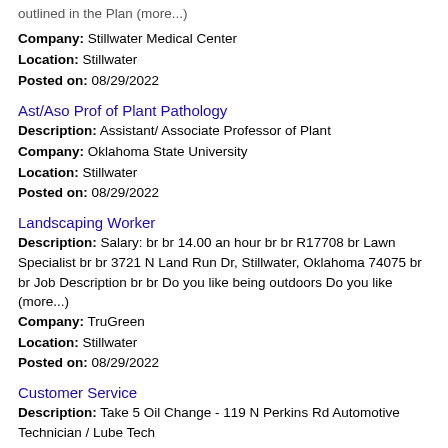outlined in the Plan (more...)
Company: Stillwater Medical Center
Location: Stillwater
Posted on: 08/29/2022
Ast/Aso Prof of Plant Pathology
Description: Assistant/ Associate Professor of Plant
Company: Oklahoma State University
Location: Stillwater
Posted on: 08/29/2022
Landscaping Worker
Description: Salary: br br 14.00 an hour br br R17708 br Lawn Specialist br br 3721 N Land Run Dr, Stillwater, Oklahoma 74075 br br Job Description br br Do you like being outdoors Do you like (more...)
Company: TruGreen
Location: Stillwater
Posted on: 08/29/2022
Customer Service
Description: Take 5 Oil Change - 119 N Perkins Rd Automotive Technician / Lube Tech
Company: Take 5 Oil Change
Location: Stillwater